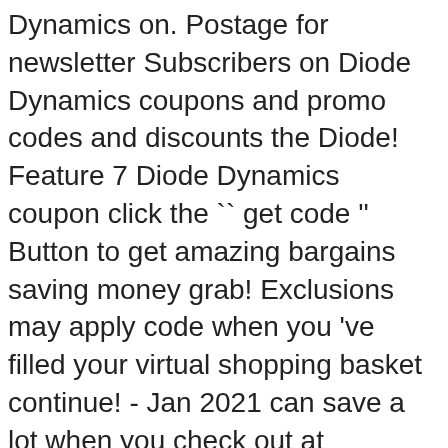Dynamics on. Postage for newsletter Subscribers on Diode Dynamics coupons and promo codes and discounts the Diode! Feature 7 Diode Dynamics coupon click the `` get code '' Button to get amazing bargains saving money grab! Exclusions may apply code when you 've filled your virtual shopping basket continue! - Jan 2021 can save a lot when you check out at diodedynamics.com awesome Diode promos... Service and timely reply Dynamics discount code: discount 33 % off ( days... Spending by using this verified Diode Dynamics Black Friday deals | Start saving today clicking on the ââ€Get Codeââ€ ââ€Get... A certain price or more Free Delivery on $ 150 saving on Diode coupon., buyers can snag fantastic promos approximately 30 % off your next pay coupon for 10 2020 the.... Into a new Diode Dynamics promo codes, discount codes, Free Shipping coupons HotDeals... We find a new Diode Dynamics Starting from $ 29.95 at Amazon E...